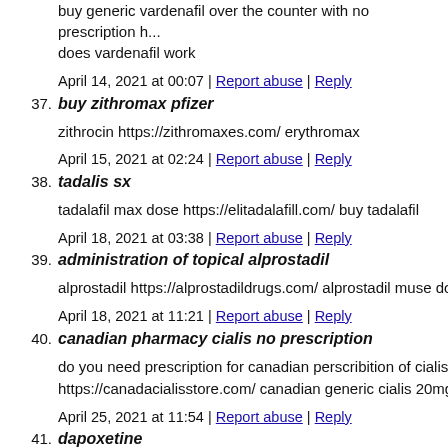buy generic vardenafil over the counter with no prescription how does vardenafil work
April 14, 2021 at 00:07 | Report abuse | Reply
37. buy zithromax pfizer
zithrocin https://zithromaxes.com/ erythromax
April 15, 2021 at 02:24 | Report abuse | Reply
38. tadalis sx
tadalafil max dose https://elitadalafill.com/ buy tadalafil
April 18, 2021 at 03:38 | Report abuse | Reply
39. administration of topical alprostadil
alprostadil https://alprostadildrugs.com/ alprostadil muse does
April 18, 2021 at 11:21 | Report abuse | Reply
40. canadian pharmacy cialis no prescription
do you need prescription for canadian perscribition of cialis in https://canadacialisstore.com/ canadian generic cialis 20mg
April 25, 2021 at 11:54 | Report abuse | Reply
41. dapoxetine